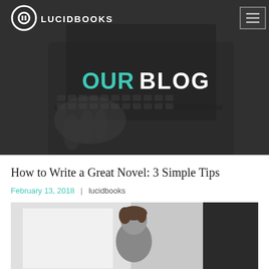[Figure (screenshot): Hero banner with dark overlay showing a person typing on a laptop keyboard, with the Lucidbooks logo and navigation bar on top, and 'OUR BLOG' text centered in the image.]
How to Write a Great Novel: 3 Simple Tips
February 13, 2018 | lucidbooks
[Figure (photo): Partial photo of a person (young man) in a bright, studio-like setting, cropped at the bottom of the page.]